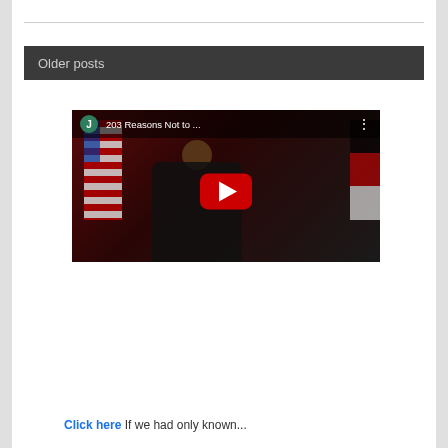Older posts
[Figure (screenshot): YouTube video embed thumbnail showing a person at a podium with American and other flags in the background. The video title reads '203 Reasons Not to ...' with a YouTube play button overlay and a green 'J' avatar icon.]
Click here If we had only known...